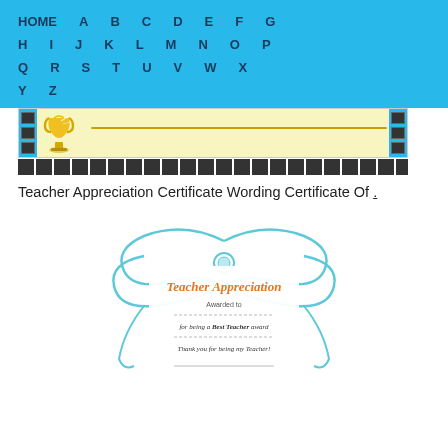HOME A B C D E F G H I J K L M N O P Q R S T U V W X Y Z
[Figure (illustration): Partial view of a teacher appreciation certificate thumbnail with trophy icon and decorative grid border]
Teacher Appreciation Certificate Wording Certificate Of .
[Figure (illustration): Teacher Appreciation certificate template with butterfly/bow design, showing 'Teacher Appreciation' in orange cursive, 'Awarded to', 'for being a Best Teacher' award line, 'Thank you for being my Teacher!' text]